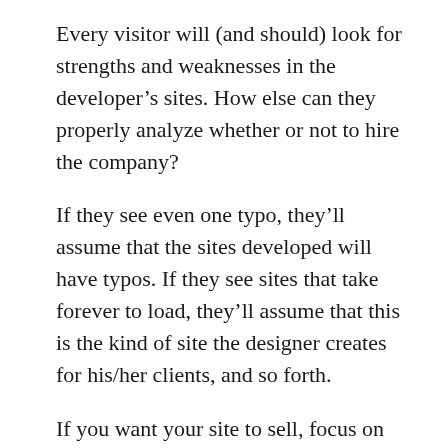Every visitor will (and should) look for strengths and weaknesses in the developer’s sites. How else can they properly analyze whether or not to hire the company?
If they see even one typo, they’ll assume that the sites developed will have typos. If they see sites that take forever to load, they’ll assume that this is the kind of site the designer creates for his/her clients, and so forth.
If you want your site to sell, focus on usability. References help, but most the important factor is that your site appears to be a model of efficiency and information. In every way. All of the above holds true for any business site, but is absolutely vital for